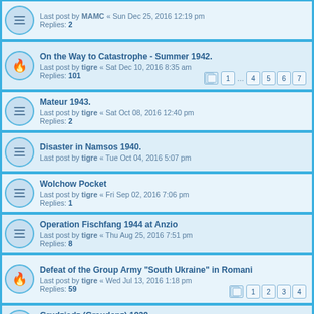Last post by MAMC « Sun Dec 25, 2016 12:19 pm
Replies: 2
On the Way to Catastrophe - Summer 1942.
Last post by tigre « Sat Dec 10, 2016 8:35 am
Replies: 101
Mateur 1943.
Last post by tigre « Sat Oct 08, 2016 12:40 pm
Replies: 2
Disaster in Namsos 1940.
Last post by tigre « Tue Oct 04, 2016 5:07 pm
Wolchow Pocket
Last post by tigre « Fri Sep 02, 2016 7:06 pm
Replies: 1
Operation Fischfang 1944 at Anzio
Last post by tigre « Thu Aug 25, 2016 7:51 pm
Replies: 8
Defeat of the Group Army "South Ukraine" in Romani
Last post by tigre « Wed Jul 13, 2016 1:18 pm
Replies: 59
Grudziądz (Graudenz) 1939.
Last post by tigre « Sat Jul 09, 2016 11:42 am
Replies: 10
BARBAROSSA Suwalk to Vilnius - Lithuanian Frontier Battles
Last post by Matt_McK « Fri Jun 24, 2016 7:13 am
Replies: 6